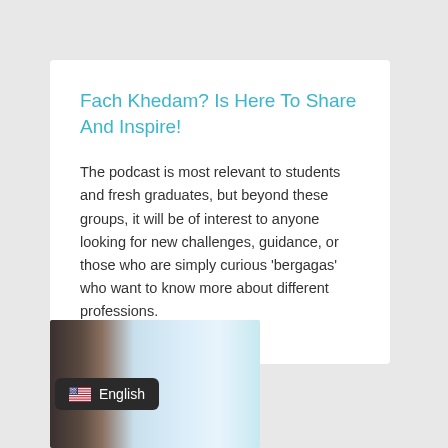Fach Khedam? Is Here To Share And Inspire!
The podcast is most relevant to students and fresh graduates, but beyond these groups, it will be of interest to anyone looking for new challenges, guidance, or those who are simply curious 'bergagas' who want to know more about different professions.
[Figure (photo): Partial photo of a person at a desk or workspace, showing dark hair and a light background, with a dark keyboard or device in the foreground]